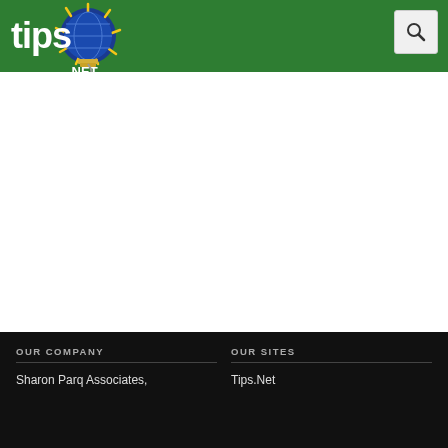tips.net header with logo and search button
[Figure (logo): Tips.Net logo: stylized 'tips' text in white with a blue and yellow lightbulb graphic and '.NET' text below, on green background]
OUR COMPANY | OUR SITES | Sharon Parq Associates, | Tips.Net